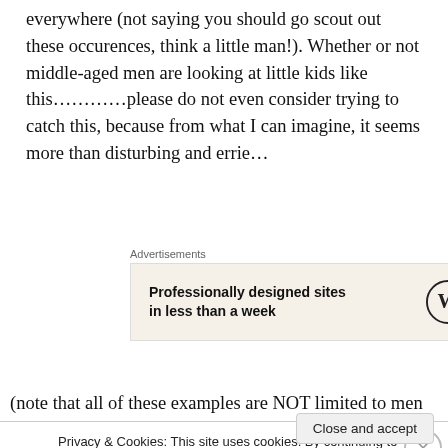everywhere (not saying you should go scout out these occurences, think a little man!). Whether or not middle-aged men are looking at little kids like this…………please do not even consider trying to catch this, because from what I can imagine, it seems more than disturbing and errie…
[Figure (other): WordPress advertisement banner: 'Professionally designed sites in less than a week' with WordPress logo]
(note that all of these examples are NOT limited to men
Privacy & Cookies: This site uses cookies. By continuing to use this website, you agree to their use.
To find out more, including how to control cookies, see here: Cookie Policy